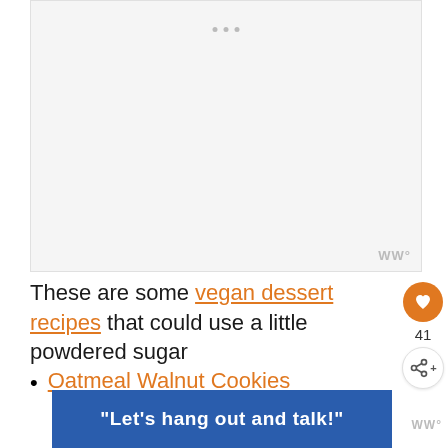[Figure (photo): Large empty/loading image area with light gray background and three small dots at top center, watermark text 'WW°' at bottom right]
These are some vegan dessert recipes that could use a little powdered sugar
Oatmeal Walnut Cookies
[Figure (infographic): Blue banner with white bold text: "Let's hang out and talk!"]